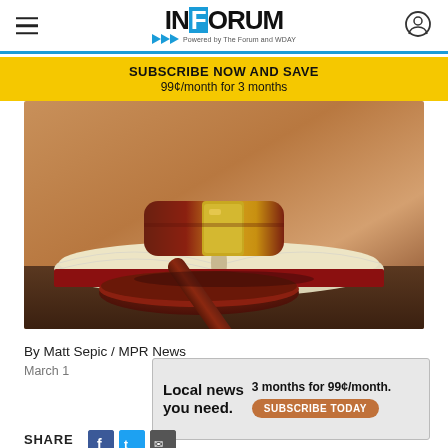INFORUM - Powered by The Forum and WDAY
SUBSCRIBE NOW AND SAVE
99¢/month for 3 months
[Figure (photo): A judge's wooden gavel resting on an open law book on a desk, close-up photo with warm brown tones]
By Matt Sepic / MPR News
March 1
Local news you need.  3 months for 99¢/month.  SUBSCRIBE TODAY
SHARE